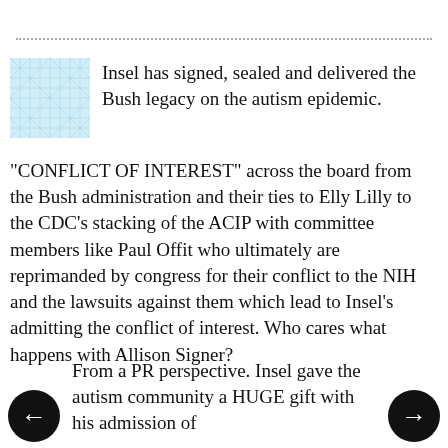[Figure (illustration): Decorative tiled blue geometric/mosaic square avatar image]
Insel has signed, sealed and delivered the Bush legacy on the autism epidemic.
"CONFLICT OF INTEREST" across the board from the Bush administration and their ties to Elly Lilly to the CDC's stacking of the ACIP with committee members like Paul Offit who ultimately are reprimanded by congress for their conflict to the NIH and the lawsuits against them which lead to Insel's admitting the conflict of interest. Who cares what happens with Allison Signer?
From a PR perspective. Insel gave the autism community a HUGE gift with his admission of